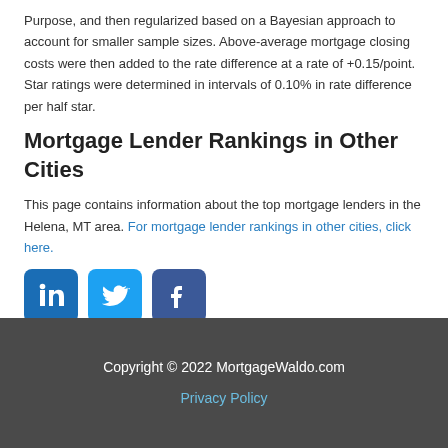Purpose, and then regularized based on a Bayesian approach to account for smaller sample sizes. Above-average mortgage closing costs were then added to the rate difference at a rate of +0.15/point. Star ratings were determined in intervals of 0.10% in rate difference per half star.
Mortgage Lender Rankings in Other Cities
This page contains information about the top mortgage lenders in the Helena, MT area. For mortgage lender rankings in other cities, click here.
[Figure (other): Social media icons: LinkedIn (blue square), Twitter (light blue square), Facebook (dark blue square)]
Copyright © 2022 MortgageWaldo.com
Privacy Policy